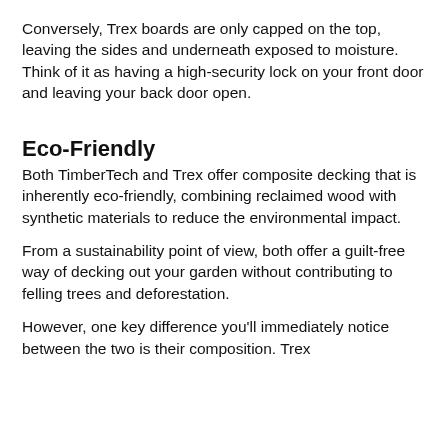Conversely, Trex boards are only capped on the top, leaving the sides and underneath exposed to moisture. Think of it as having a high-security lock on your front door and leaving your back door open.
Eco-Friendly
Both TimberTech and Trex offer composite decking that is inherently eco-friendly, combining reclaimed wood with synthetic materials to reduce the environmental impact.
From a sustainability point of view, both offer a guilt-free way of decking out your garden without contributing to felling trees and deforestation.
However, one key difference you'll immediately notice between the two is their composition. Trex boards are made from recycled plastic and wood...